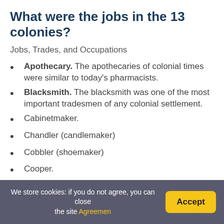What were the jobs in the 13 colonies?
Jobs, Trades, and Occupations
Apothecary. The apothecaries of colonial times were similar to today's pharmacists.
Blacksmith. The blacksmith was one of the most important tradesmen of any colonial settlement.
Cabinetmaker.
Chandler (candlemaker)
Cobbler (shoemaker)
Cooper.
Gunsmith.
Milliner.
How do you become a milliner?
We store cookies: if you do not agree, you can close the site Agreement